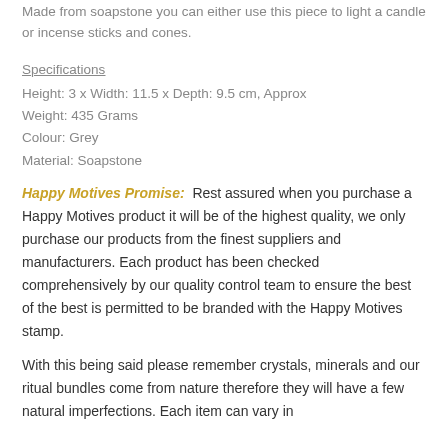Made from soapstone you can either use this piece to light a candle or incense sticks and cones.
Specifications
Height: 3 x Width: 11.5 x Depth: 9.5 cm, Approx
Weight: 435 Grams
Colour: Grey
Material: Soapstone
Happy Motives Promise:  Rest assured when you purchase a Happy Motives product it will be of the highest quality, we only purchase our products from the finest suppliers and manufacturers. Each product has been checked comprehensively by our quality control team to ensure the best of the best is permitted to be branded with the Happy Motives stamp.
With this being said please remember crystals, minerals and our ritual bundles come from nature therefore they will have a few natural imperfections. Each item can vary in